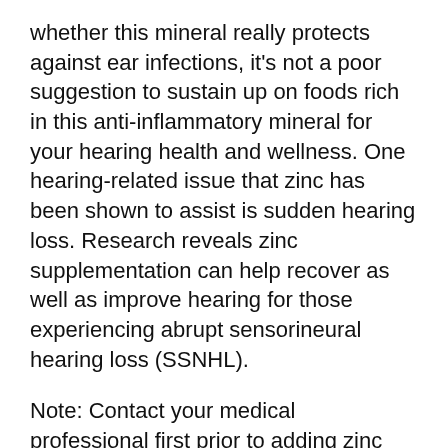whether this mineral really protects against ear infections, it's not a poor suggestion to sustain up on foods rich in this anti-inflammatory mineral for your hearing health and wellness. One hearing-related issue that zinc has been shown to assist is sudden hearing loss. Research reveals zinc supplementation can help recover as well as improve hearing for those experiencing abrupt sensorineural hearing loss (SSNHL).
Note: Contact your medical professional first prior to adding zinc supplement to your routine, especially if you take prescription antibiotics or diuretics, as zinc can adversely engage with these sorts of drugs.
A Effective Vitamin Mix for Noise-related...